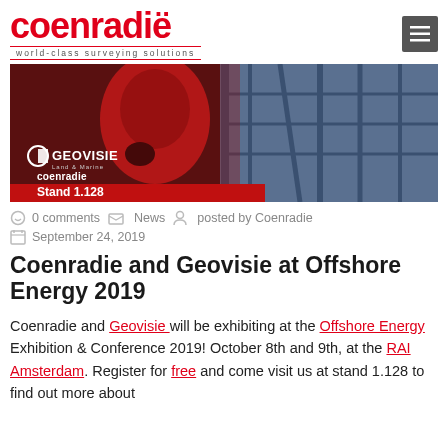coenradie — world-class surveying solutions
[Figure (photo): Banner photo showing offshore worker in red jacket working on industrial structure, with Geovisie Land & Marine and Coenradie logos, Stand 1.128 text]
0 comments   News   posted by Coenradie
September 24, 2019
Coenradie and Geovisie at Offshore Energy 2019
Coenradie and Geovisie will be exhibiting at the Offshore Energy Exhibition & Conference 2019! October 8th and 9th, at the RAI Amsterdam. Register for free and come visit us at stand 1.128 to find out more about